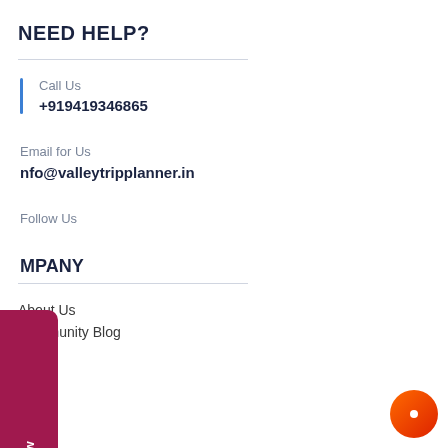NEED HELP?
Call Us
+919419346865
Email for Us
nfo@valleytripplanner.in
Follow Us
MPANY
About Us
Community Blog